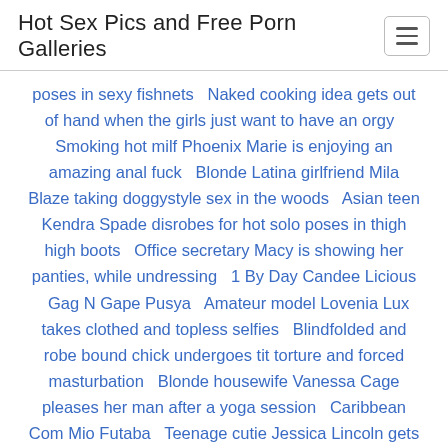Hot Sex Pics and Free Porn Galleries
poses in sexy fishnets   Naked cooking idea gets out of hand when the girls just want to have an orgy   Smoking hot milf Phoenix Marie is enjoying an amazing anal fuck   Blonde Latina girlfriend Mila Blaze taking doggystyle sex in the woods   Asian teen Kendra Spade disrobes for hot solo poses in thigh high boots   Office secretary Macy is showing her panties, while undressing   1 By Day Candee Licious   Gag N Gape Pusya   Amateur model Lovenia Lux takes clothed and topless selfies   Blindfolded and robe bound chick undergoes tit torture and forced masturbation   Blonde housewife Vanessa Cage pleases her man after a yoga session   Caribbean Com Mio Futaba   Teenage cutie Jessica Lincoln gets her pussy and ass plowed by her lover   Tasty young amateur Tamara Sky takes off her dress to finger herself   Amusing Asian fatty Kiwi Ling massages beaver-cleaver and licks balls   Busty blonde MILF Rachel Aziani strips bikini at the beach to pose in the sand   German babe model Madison Ivy peels off a naughty nurse uniform in